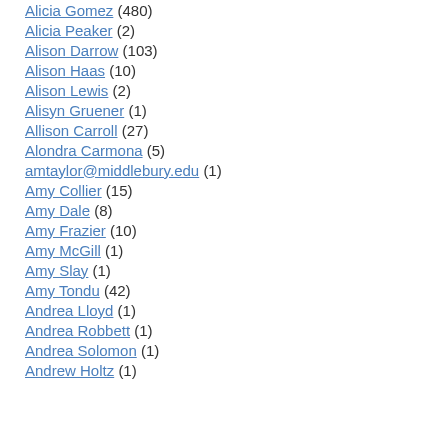Alicia Gomez (480)
Alicia Peaker (2)
Alison Darrow (103)
Alison Haas (10)
Alison Lewis (2)
Alisyn Gruener (1)
Allison Carroll (27)
Alondra Carmona (5)
amtaylor@middlebury.edu (1)
Amy Collier (15)
Amy Dale (8)
Amy Frazier (10)
Amy McGill (1)
Amy Slay (1)
Amy Tondu (42)
Andrea Lloyd (1)
Andrea Robbett (1)
Andrea Solomon (1)
Andrew Holtz (1)